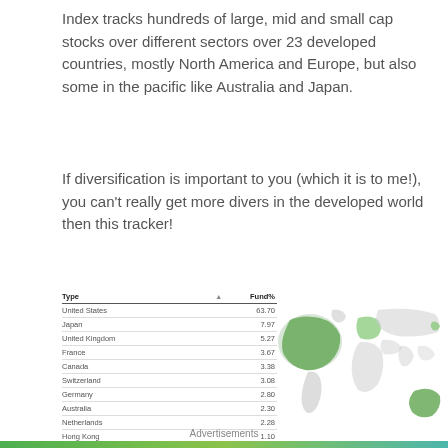Index tracks hundreds of large, mid and small cap stocks over different sectors over 23 developed countries, mostly North America and Europe, but also some in the pacific like Australia and Japan.
If diversification is important to you (which it is to me!), you can't really get more divers in the developed world then this tracker!
| Type |  | Fund% |
| --- | --- | --- |
| United States |  | 63.70 |
| Japan |  | 7.97 |
| United Kingdom |  | 5.27 |
| France |  | 3.67 |
| Canada |  | 3.38 |
| Switzerland |  | 3.08 |
| Germany |  | 2.80 |
| Australia |  | 2.30 |
| Netherlands |  | 2.28 |
| Hong Kong |  | 1.10 |
| Cash and/or Derivatives |  | 0.37 |
| Other |  | 5.02 |
[Figure (map): World map showing geographic distribution of fund holdings, with North America and parts of Europe highlighted in green, and Australia also highlighted.]
Advertisements